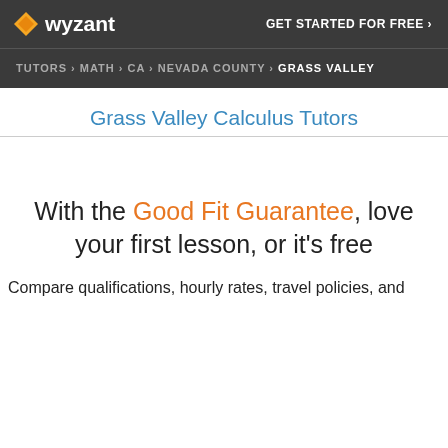wyzant
GET STARTED FOR FREE ›
TUTORS › MATH › CA › NEVADA COUNTY › GRASS VALLEY
Grass Valley Calculus Tutors
With the Good Fit Guarantee, love your first lesson, or it's free
Compare qualifications, hourly rates, travel policies, and